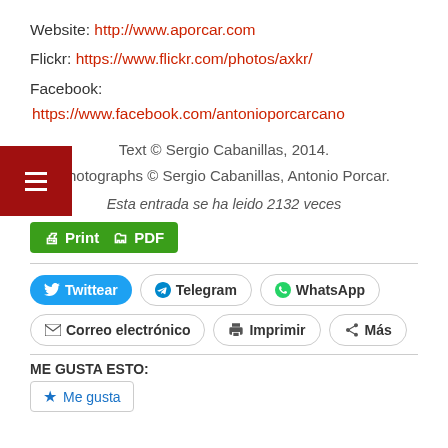Website: http://www.aporcar.com
Flickr: https://www.flickr.com/photos/axkr/
Facebook: https://www.facebook.com/antonioporcarcano
[Figure (screenshot): Navigation hamburger menu button (red background, white lines)]
Text © Sergio Cabanillas, 2014.
Photographs © Sergio Cabanillas, Antonio Porcar.
Esta entrada se ha leido 2132 veces
[Figure (screenshot): Print and PDF green button]
[Figure (screenshot): Social sharing buttons: Twittear, Telegram, WhatsApp, Correo electrónico, Imprimir, Más]
ME GUSTA ESTO:
[Figure (screenshot): Me gusta button]